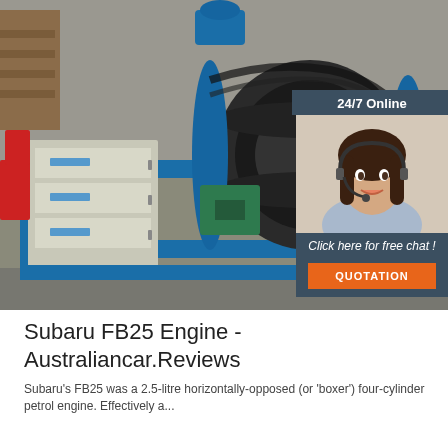[Figure (photo): Industrial winch machine painted blue with large black drum/spool, motor, and grey control cabinet, photographed in a factory/warehouse setting. Overlaid with a chat widget in the top-right corner showing '24/7 Online', a woman with a headset, 'Click here for free chat!' text, and an orange QUOTATION button.]
Subaru FB25 Engine - Australiancar.Reviews
Subaru's FB25 was a 2.5-litre horizontally-opposed (or 'boxer') four-cylinder petrol engine. Effectively a...